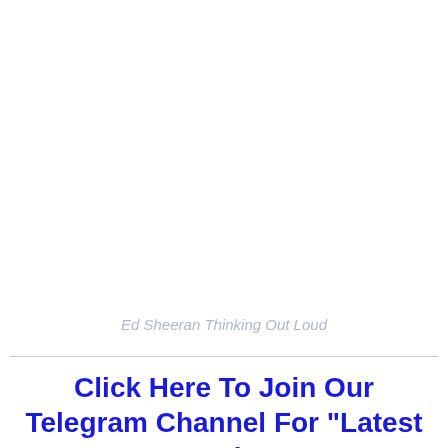Ed Sheeran Thinking Out Loud
Click Here To Join Our Telegram Channel For "Latest Music"